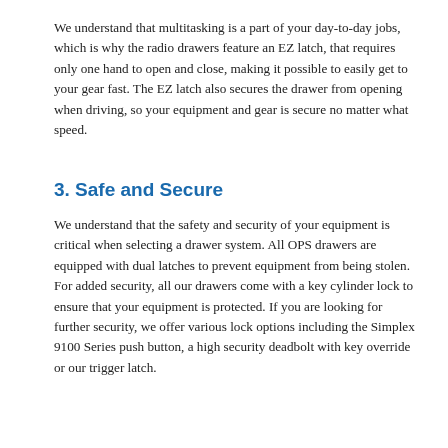We understand that multitasking is a part of your day-to-day jobs, which is why the radio drawers feature an EZ latch, that requires only one hand to open and close, making it possible to easily get to your gear fast. The EZ latch also secures the drawer from opening when driving, so your equipment and gear is secure no matter what speed.
3. Safe and Secure
We understand that the safety and security of your equipment is critical when selecting a drawer system. All OPS drawers are equipped with dual latches to prevent equipment from being stolen. For added security, all our drawers come with a key cylinder lock to ensure that your equipment is protected. If you are looking for further security, we offer various lock options including the Simplex 9100 Series push button, a high security deadbolt with key override or our trigger latch.